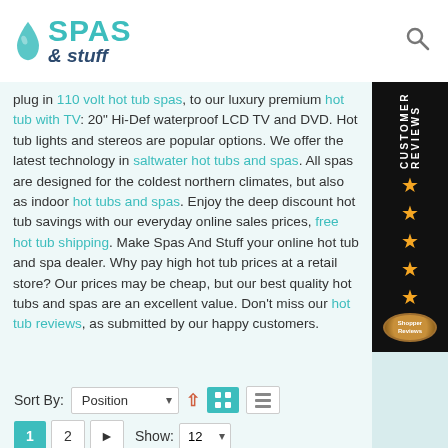[Figure (logo): Spas & Stuff logo with teal water drop icon and teal/navy text]
plug in 110 volt hot tub spas, to our luxury premium hot tub with TV: 20" Hi-Def waterproof LCD TV and DVD. Hot tub lights and stereos are popular options. We offer the latest technology in saltwater hot tubs and spas. All spas are designed for the coldest northern climates, but also as indoor hot tubs and spas. Enjoy the deep discount hot tub savings with our everyday online sales prices, free hot tub shipping. Make Spas And Stuff your online hot tub and spa dealer. Why pay high hot tub prices at a retail store? Our prices may be cheap, but our best quality hot tubs and spas are an excellent value. Don't miss our hot tub reviews, as submitted by our happy customers.
[Figure (other): Customer Reviews sidebar banner with orange stars and badge]
Sort By: Position
1  2  Show: 12